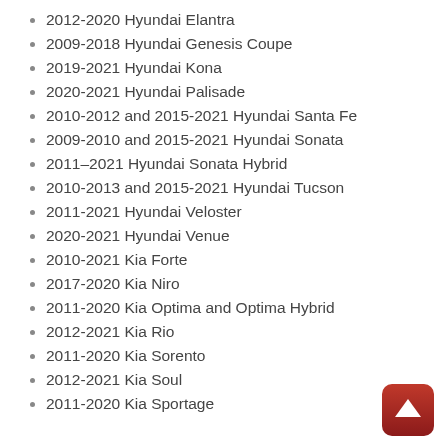2012-2020 Hyundai Elantra
2009-2018 Hyundai Genesis Coupe
2019-2021 Hyundai Kona
2020-2021 Hyundai Palisade
2010-2012 and 2015-2021 Hyundai Santa Fe
2009-2010 and 2015-2021 Hyundai Sonata
2011–2021 Hyundai Sonata Hybrid
2010-2013 and 2015-2021 Hyundai Tucson
2011-2021 Hyundai Veloster
2020-2021 Hyundai Venue
2010-2021 Kia Forte
2017-2020 Kia Niro
2011-2020 Kia Optima and Optima Hybrid
2012-2021 Kia Rio
2011-2020 Kia Sorento
2012-2021 Kia Soul
2011-2020 Kia Sportage